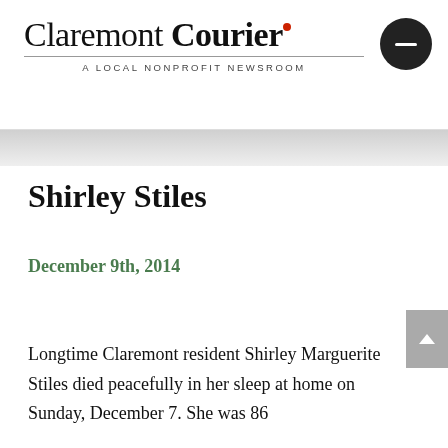Claremont Courier — A LOCAL NONPROFIT NEWSROOM
Shirley Stiles
December 9th, 2014
Longtime Claremont resident Shirley Marguerite Stiles died peacefully in her sleep at home on Sunday, December 7. She was 86...